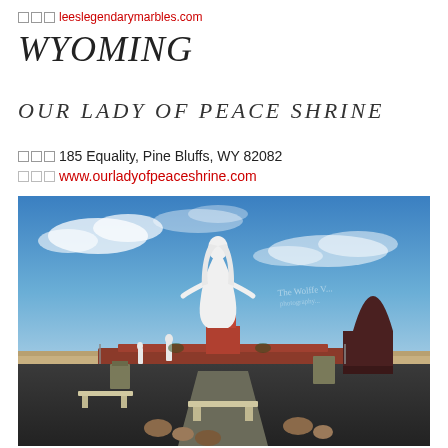leeslegendarymarbles.com
WYOMING
OUR LADY OF PEACE SHRINE
185 Equality, Pine Bluffs, WY 82082
www.ourladyofpeaceshrine.com
[Figure (photo): Outdoor shrine featuring a large white statue of Our Lady of Peace on a raised platform, surrounded by benches, rocks, smaller statues, and a dark monument. Blue sky with clouds in the background, open plains visible.]